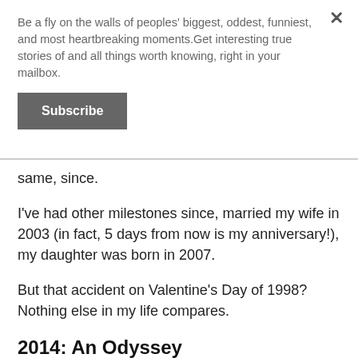Be a fly on the walls of peoples' biggest, oddest, funniest, and most heartbreaking moments.Get interesting true stories of and all things worth knowing, right in your mailbox.
Subscribe
same, since.
I've had other milestones since, married my wife in 2003 (in fact, 5 days from now is my anniversary!), my daughter was born in 2007.
But that accident on Valentine's Day of 1998? Nothing else in my life compares.
2014: An Odyssey
[rebelmouse-image 18355078